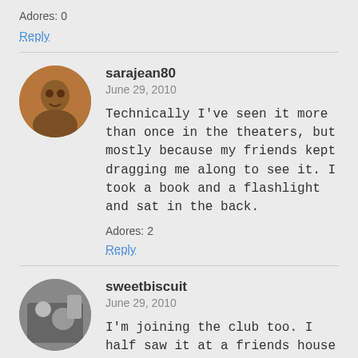Adores: 0
Reply
sarajean80
June 29, 2010
Technically I've seen it more than once in the theaters, but mostly because my friends kept dragging me along to see it. I took a book and a flashlight and sat in the back.
Adores: 2
Reply
sweetbiscuit
June 29, 2010
I'm joining the club too. I half saw it at a friends house about 3 years after it finished in the cinemas, but after 40 minutes I got